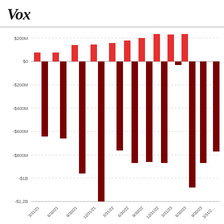Vox
[Figure (grouped-bar-chart): ]